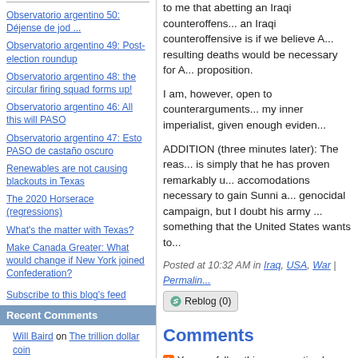Observatorio argentino 50: Déjense de jod ...
Observatorio argentino 49: Post-election roundup
Observatorio argentino 48: the circular firing squad forms up!
Observatorio argentino 46: All this will PASO
Observatorio argentino 47: Esto PASO de castaño oscuro
Renewables are not causing blackouts in Texas
The 2020 Horserace (regressions)
What's the matter with Texas?
Make Canada Greater: What would change if New York joined Confederation?
Subscribe to this blog's feed
Recent Comments
Will Baird on The trillion dollar coin
Noel Maurer on Renewables are not causing blackouts in Texas
to me that abetting an Iraqi counteroffens... an Iraqi counteroffensive is if we believe A... resulting deaths would be necessary for A... proposition.
I am, however, open to counterarguments... my inner imperialist, given enough eviden...
ADDITION (three minutes later): The reas... is simply that he has proven remarkably u... accomodations necessary to gain Sunni a... genocidal campaign, but I doubt his army ... something that the United States wants to...
Posted at 10:32 AM in Iraq, USA, War | Permalink
Reblog (0)
Comments
You can follow this conversation by sub...
One factor that just does not get enough a... absolutely no interest in treating Shi'ites o... Maliki may have been quite truculent in ab... Sunni leaders, and he certainly never gav... might work for them, but it's important to...